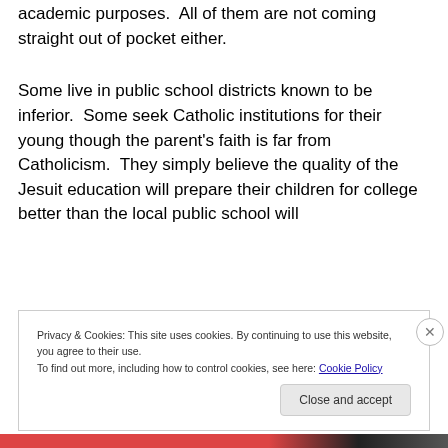academic purposes.  All of them are not coming straight out of pocket either.
Some live in public school districts known to be inferior.  Some seek Catholic institutions for their young though the parent's faith is far from Catholicism.  They simply believe the quality of the Jesuit education will prepare their children for college better than the local public school will
Privacy & Cookies: This site uses cookies. By continuing to use this website, you agree to their use.
To find out more, including how to control cookies, see here: Cookie Policy